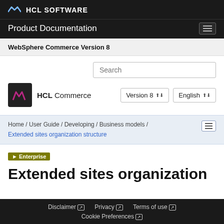HCL SOFTWARE
Product Documentation
WebSphere Commerce Version 8
[Figure (logo): HCL Commerce logo with search box and version/language dropdowns]
Home / User Guide / Developing / Business models / Extended sites organization structure
Enterprise
Extended sites organization
Disclaimer  Privacy  Terms of use  Cookie Preferences